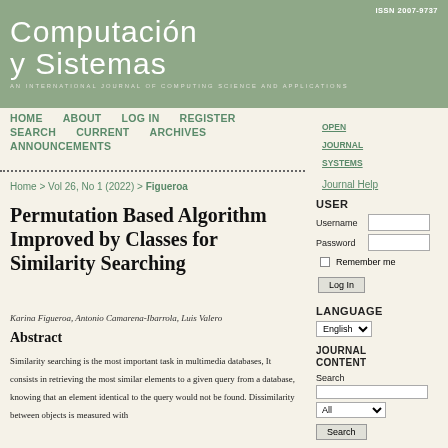ISSN 2007-9737
Computación y Sistemas
AN INTERNATIONAL JOURNAL OF COMPUTING SCIENCE AND APPLICATIONS
HOME   ABOUT   LOG IN   REGISTER   SEARCH   CURRENT   ARCHIVES   ANNOUNCEMENTS
OPEN JOURNAL SYSTEMS
Journal Help
Home > Vol 26, No 1 (2022) > Figueroa
USER
Username
Password
Remember me
Log In
LANGUAGE
English
JOURNAL CONTENT
Search
All
Search
Permutation Based Algorithm Improved by Classes for Similarity Searching
Karina Figueroa, Antonio Camarena-Ibarrola, Luis Valero
Abstract
Similarity searching is the most important task in multimedia databases, It consists in retrieving the most similar elements to a given query from a database, knowing that an element identical to the query would not be found. Dissimilarity between objects is measured with